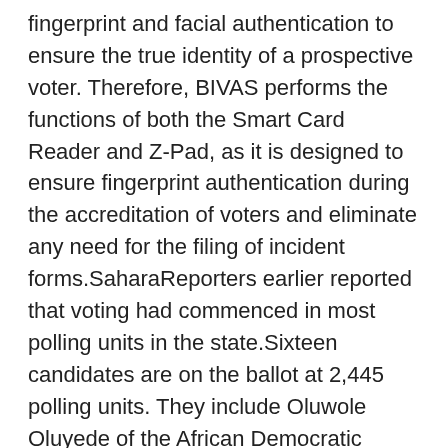fingerprint and facial authentication to ensure the true identity of a prospective voter. Therefore, BIVAS performs the functions of both the Smart Card Reader and Z-Pad, as it is designed to ensure fingerprint authentication during the accreditation of voters and eliminate any need for the filing of incident forms.SaharaReporters earlier reported that voting had commenced in most polling units in the state.Sixteen candidates are on the ballot at 2,445 polling units. They include Oluwole Oluyede of the African Democratic Congress (ADC); Kemi Elebute Halle of the Action Democratic Party (ADP); Biodun Oyebanji of the All Progressives Congress (APC); Olabisi Kolawole of the Peoples Democratic Party (PDP); former Governor Segun Oni, Social Democratic Party (SDP) and Ranti Ajayi from the Young Progressives Party (YPP).ElectionsNewsAddThis:Original